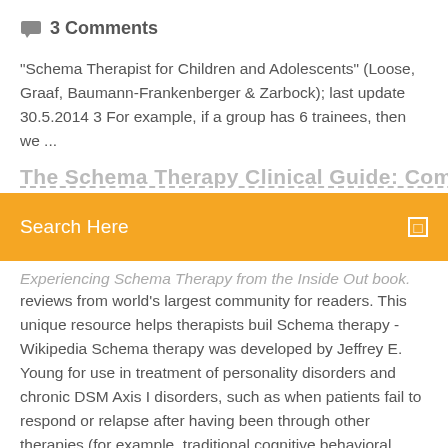3 Comments
"Schema Therapist for Children and Adolescents" (Loose, Graaf, Baumann-Frankenberger & Zarbock); last update 30.5.2014 3 For example, if a group has 6 trainees, then we ...
Search Here
Experiencing Schema Therapy from the Inside Out book. Read reviews from world's largest community for readers. This unique resource helps therapists buil Schema therapy - Wikipedia Schema therapy was developed by Jeffrey E. Young for use in treatment of personality disorders and chronic DSM Axis I disorders, such as when patients fail to respond or relapse after having been through other therapies (for example, traditional cognitive behavioral therapy).Schema therapy is an integrative psychotherapy combining theory and techniques from previously existing therapies Schemas – Mental